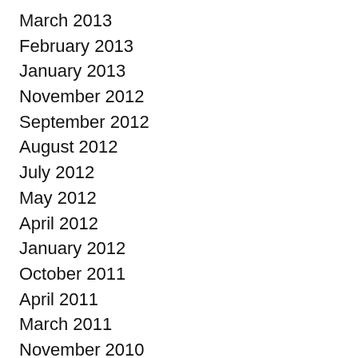March 2013
February 2013
January 2013
November 2012
September 2012
August 2012
July 2012
May 2012
April 2012
January 2012
October 2011
April 2011
March 2011
November 2010
October 2010
September 2010
August 2010
July 2010